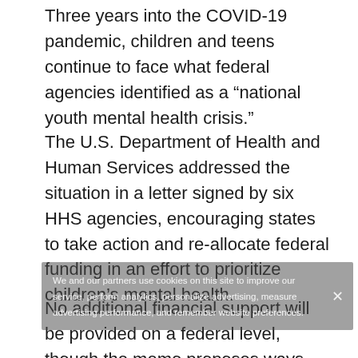Three years into the COVID-19 pandemic, children and teens continue to face what federal agencies identified as a “national youth mental health crisis.”
The U.S. Department of Health and Human Services addressed the situation in a letter signed by six HHS agencies, encouraging states to take action and re-allocate federal funding in an effort to prioritize children’s mental health.
No additional financial support will be provided on a federal level, though the memo proposes ways states can expand on their mental health services, highlighting the importance of methodically approving grants, Medicaid state plans, waives and other resources towards programs supporting children in need.